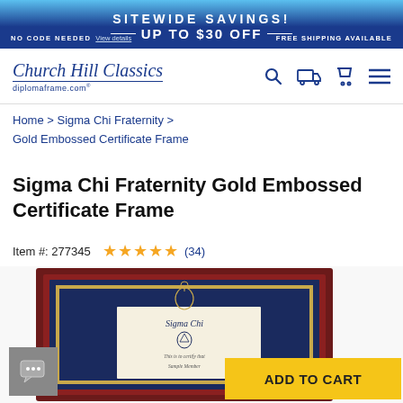SITEWIDE SAVINGS! UP TO $30 OFF — NO CODE NEEDED View details FREE SHIPPING AVAILABLE
[Figure (logo): Church Hill Classics diplomaframe.com logo with navigation icons]
Home > Sigma Chi Fraternity > Gold Embossed Certificate Frame
Sigma Chi Fraternity Gold Embossed Certificate Frame
Item #: 277345 ★★★★★ (34)
[Figure (photo): Sigma Chi Fraternity Gold Embossed Certificate Frame product photo showing dark cherry wood frame with navy mat and gold embossed Sigma Chi crest, displaying a sample certificate inside]